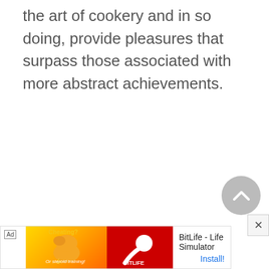the art of cookery and in so doing, provide pleasures that surpass those associated with more abstract achievements.
[Figure (other): Circular grey scroll-to-top button with an upward chevron arrow icon]
[Figure (other): Advertisement banner for BitLife - Life Simulator app with Install button]